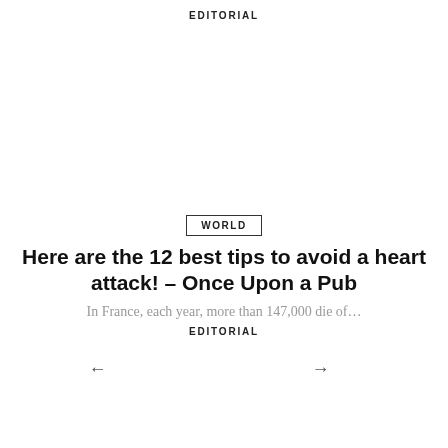EDITORIAL
WORLD
Here are the 12 best tips to avoid a heart attack! – Once Upon a Pub
In France, each year, more than 147,000 die of…
EDITORIAL
← →